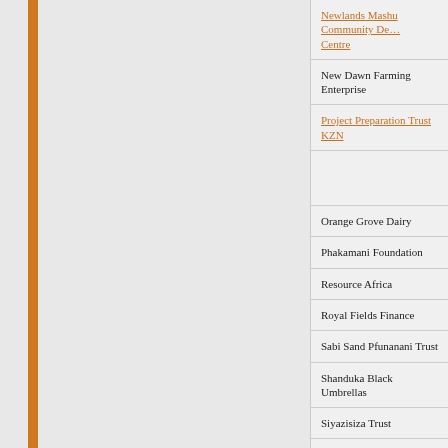| Organisation |
| --- |
| Newlands Mashu Community De... Centre |
| New Dawn Farming Enterprise |
| Project Preparation Trust KZN |
| Orange Grove Dairy |
| Phakamani Foundation |
| Resource Africa |
| Royal Fields Finance |
| Sabi Sand Pfunanani Trust |
| Shanduka Black Umbrellas |
| Siyazisiza Trust |
| South African Bureau of Standard... Institute |
| Stargrow Nursery Trust |
| Shanduka Black Umbrellas... |